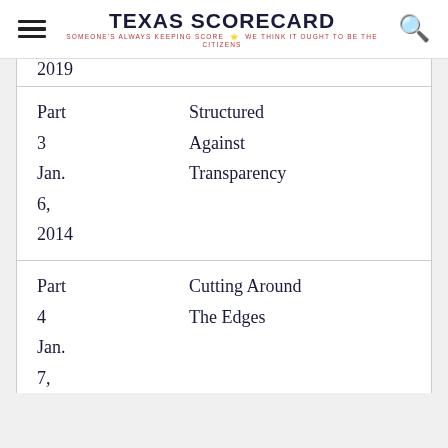TEXAS SCORECARD — SOMEONE'S ALWAYS KEEPING SCORE. WE THINK IT OUGHT TO BE THE CITIZENS
| Part / Date | Title |
| --- | --- |
| Part 3
Jan. 6,
2014 | Structured Against Transparency |
| Part 4
Jan. 7, | Cutting Around The Edges |